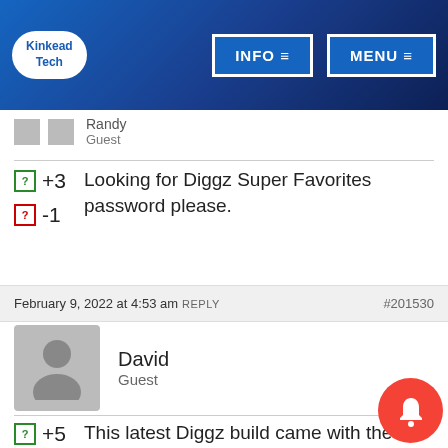Kinkead Tech | INFO | MENU
Randy
Guest
Looking for Diggz Super Favorites password please.
+3
-1
February 9, 2022 at 4:53 am REPLY #201530
David
Guest
This latest Diggz build came with the wrong super favorites packaged. If you go to it's SF versions, select the Diggz
+5
-3